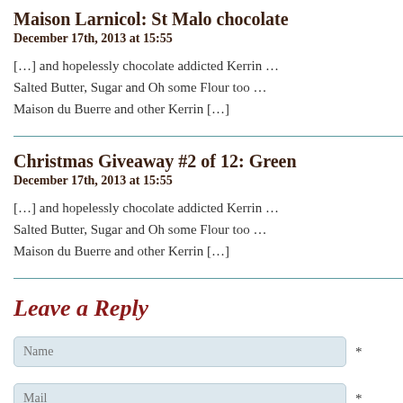Maison Larnicol: St Malo chocolate
December 17th, 2013 at 15:55
[…] and hopelessly chocolate addicted Kerrin … Salted Butter, Sugar and Oh some Flour too … Maison du Buerre and other Kerrin […]
Christmas Giveaway #2 of 12: Green
December 17th, 2013 at 15:55
[…] and hopelessly chocolate addicted Kerrin … Salted Butter, Sugar and Oh some Flour too … Maison du Buerre and other Kerrin […]
Leave a Reply
Name *
Mail *